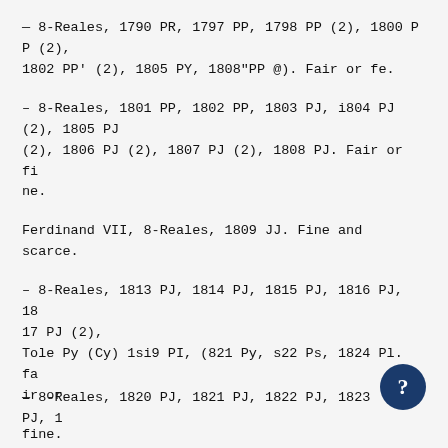— 8-Reales, 1790 PR, 1797 PP, 1798 PP (2), 1800 PP (2), 1802 PP' (2), 1805 PY, 1808"PP @). Fair or fe.
– 8-Reales, 1801 PP, 1802 PP, 1803 PJ, i804 PJ (2), 1805 PJ (2), 1806 PJ (2), 1807 PJ (2), 1808 PJ. Fair or fine.
Ferdinand VII, 8-Reales, 1809 JJ. Fine and scarce.
– 8-Reales, 1813 PJ, 1814 PJ, 1815 PJ, 1816 PJ, 1817 PJ (2), Tole Py (Cy) 1si9 PI, (821 Py, s22 Ps, 1824 Pl. fair or
fine.
— 8-Reales, 1820 PJ, 1821 PJ, 1822 PJ, 1823 PJ, 1